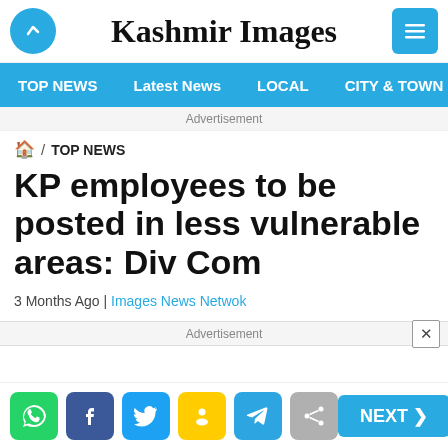Kashmir Images
TOP NEWS | Latest News | LOCAL | CITY & TOWN
Advertisement
🏠 / TOP NEWS
KP employees to be posted in less vulnerable areas: Div Com
3 Months Ago | Images News Netwok
Advertisement